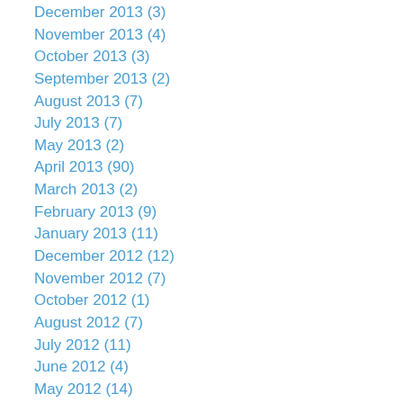December 2013 (3)
November 2013 (4)
October 2013 (3)
September 2013 (2)
August 2013 (7)
July 2013 (7)
May 2013 (2)
April 2013 (90)
March 2013 (2)
February 2013 (9)
January 2013 (11)
December 2012 (12)
November 2012 (7)
October 2012 (1)
August 2012 (7)
July 2012 (11)
June 2012 (4)
May 2012 (14)
April 2012 (17)
March 2012 (3)